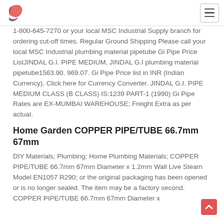Logo and navigation hamburger menu
1-800-645-7270 or your local MSC Industrial Supply branch for ordering cut-off times. Regular Ground Shipping Please call your local MSC Industrial plumbing material pipetube Gi Pipe Price ListJINDAL G.I. PIPE MEDIUM, JINDAL G.I plumbing material pipetube1563.90. 969.07. Gi Pipe Price list in INR (Indian Currency), Click here for Currency Converter. JINDAL G.I. PIPE MEDIUM CLASS (B CLASS) IS:1239 PART-1 (1990) Gi Pipe Rates are EX-MUMBAI WAREHOUSE; Freight Extra as per actual.
Home Garden COPPER PIPE/TUBE 66.7mm 67mm
DIY Materials; Plumbing; Home Plumbing Materials; COPPER PIPE/TUBE 66.7mm 67mm Diameter x 1.2mm Wall Live Steam Model EN1057 R290; or the original packaging has been opened or is no longer sealed. The item may be a factory second. COPPER PIPE/TUBE 66.7mm 67mm Diameter x